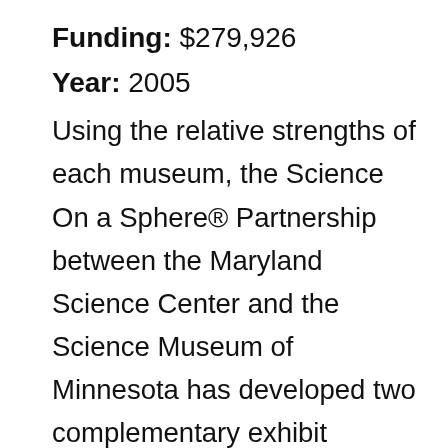Funding: $279,926
Year: 2005
Using the relative strengths of each museum, the Science On a Sphere® Partnership between the Maryland Science Center and the Science Museum of Minnesota has developed two complementary exhibit approaches to Science On a Sphere® (SOS). Audiences interacting with SOS are able to observe global connections in geophysical phenomena not possible with any two dimensional representation of the Earth. The goal of the project is for museum visitors, particularly underserved